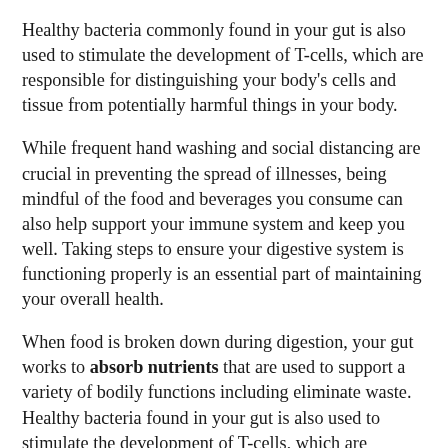Healthy bacteria commonly found in your gut is also used to stimulate the development of T-cells, which are responsible for distinguishing your body's cells and tissue from potentially harmful things in your body.
While frequent hand washing and social distancing are crucial in preventing the spread of illnesses, being mindful of the food and beverages you consume can also help support your immune system and keep you well. Taking steps to ensure your digestive system is functioning properly is an essential part of maintaining your overall health.
When food is broken down during digestion, your gut works to absorb nutrients that are used to support a variety of bodily functions including eliminate waste. Healthy bacteria found in your gut is also used to stimulate the development of T-cells, which are responsible for distinguishing your body's cells and tissue from potentially harmful things in your body. When there is an imbalance in your gut, such as an overgrowth of "bad"